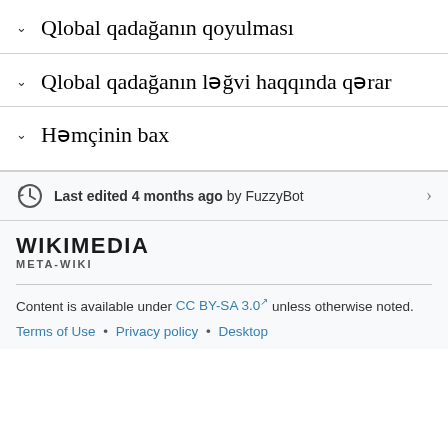Qlobal qadağanın qoyulması
Qlobal qadağanın ləğvi haqqında qərar
Həmçinin bax
Last edited 4 months ago by FuzzyBot
[Figure (logo): Wikimedia META-WIKI logo]
Content is available under CC BY-SA 3.0 unless otherwise noted.
Terms of Use • Privacy policy • Desktop